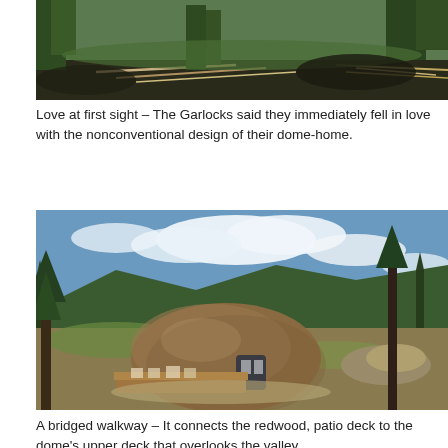[Figure (photo): A forested hillside scene with fallen branches, pine trees, and rocky ground in a mountain setting.]
Love at first sight – The Garlocks said they immediately fell in love with the nonconventional design of their dome-home.
[Figure (photo): A monolithic dome home with a brown textured exterior, situated on a hillside surrounded by pine trees. A wooden deck is attached to the front and a bridged walkway connects to an upper deck. Blue sky with clouds and mountain ridges in the background.]
A bridged walkway – It connects the redwood, patio deck to the dome's upper deck that overlooks the valley.